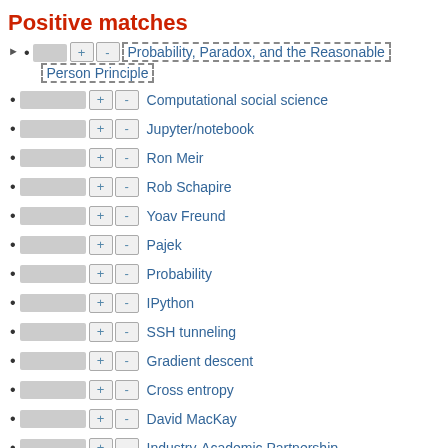Positive matches
Probability, Paradox, and the Reasonable Person Principle
Computational social science
Jupyter/notebook
Ron Meir
Rob Schapire
Yoav Freund
Pajek
Probability
IPython
SSH tunneling
Gradient descent
Cross entropy
David MacKay
Industry-Academic Partnership